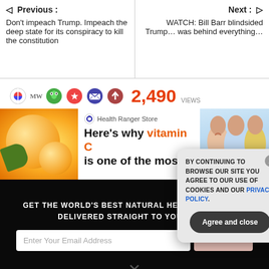◁ Previous : Don't impeach Trump. Impeach the deep state for its conspiracy to kill the constitution
Next : ▷ WATCH: Bill Barr blindsided Trump… was behind everything…
2,490 VIEWS
[Figure (screenshot): Health Ranger Store advertisement banner: Here's why vitamin C is one of the most]
[Figure (screenshot): Dark newsletter signup section: GET THE WORLD'S BEST NATURAL HEALTH NEWSLETTER DELIVERED STRAIGHT TO YOUR INBOX. Email input and SUBSCRIBE button.]
[Figure (screenshot): Cookie consent modal: BY CONTINUING TO BROWSE OUR SITE YOU AGREE TO OUR USE OF COOKIES AND OUR PRIVACY POLICY. Agree and close button.]